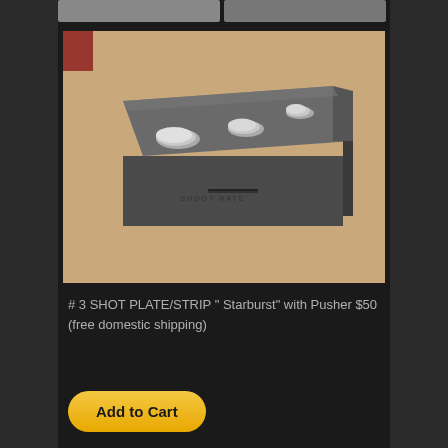[Figure (photo): Product photo of a rectangular metal block (shot plate/strip) with three circular button inserts on top, placed on a beige/tan leather surface. The block is dark metallic gray and has text engraved on its side.]
# 3 SHOT PLATE/STRIP " Starburst" with Pusher $50
(free domestic shipping)
Add to Cart